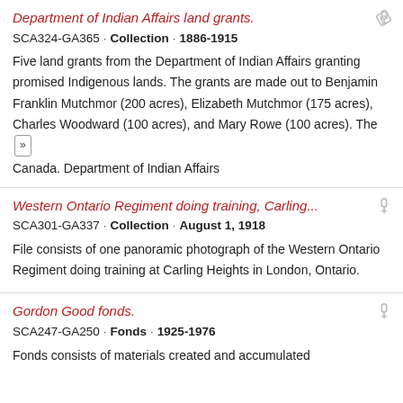Department of Indian Affairs land grants.
SCA324-GA365 · Collection · 1886-1915
Five land grants from the Department of Indian Affairs granting promised Indigenous lands. The grants are made out to Benjamin Franklin Mutchmor (200 acres), Elizabeth Mutchmor (175 acres), Charles Woodward (100 acres), and Mary Rowe (100 acres). The ...
Canada. Department of Indian Affairs
Western Ontario Regiment doing training, Carling...
SCA301-GA337 · Collection · August 1, 1918
File consists of one panoramic photograph of the Western Ontario Regiment doing training at Carling Heights in London, Ontario.
Gordon Good fonds.
SCA247-GA250 · Fonds · 1925-1976
Fonds consists of materials created and accumulated